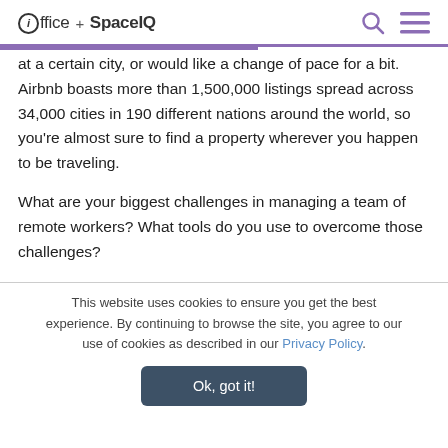ioffice + SpaceIQ
at a certain city, or would like a change of pace for a bit. Airbnb boasts more than 1,500,000 listings spread across 34,000 cities in 190 different nations around the world, so you’re almost sure to find a property wherever you happen to be traveling.
What are your biggest challenges in managing a team of remote workers? What tools do you use to overcome those challenges?
This website uses cookies to ensure you get the best experience. By continuing to browse the site, you agree to our use of cookies as described in our Privacy Policy.